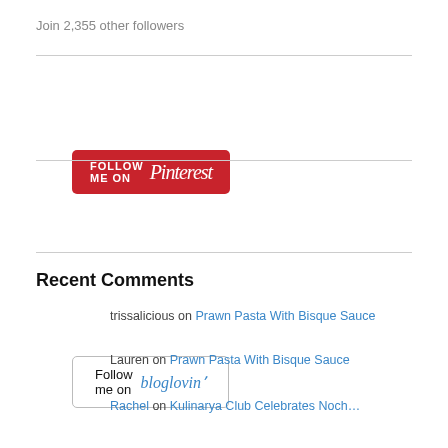Join 2,355 other followers
[Figure (logo): Follow me on Pinterest red button with Pinterest cursive logo]
[Figure (logo): Follow me on bloglovin' button with blue cursive bloglovin text]
Recent Comments
trissalicious on Prawn Pasta With Bisque Sauce
Lauren on Prawn Pasta With Bisque Sauce
Rachel on Kulinarya Club Celebrates Noch…